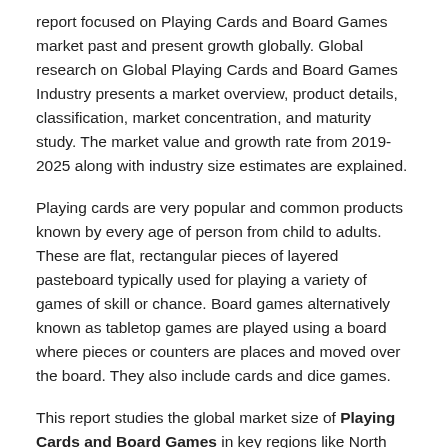report focused on Playing Cards and Board Games market past and present growth globally. Global research on Global Playing Cards and Board Games Industry presents a market overview, product details, classification, market concentration, and maturity study. The market value and growth rate from 2019-2025 along with industry size estimates are explained.
Playing cards are very popular and common products known by every age of person from child to adults. These are flat, rectangular pieces of layered pasteboard typically used for playing a variety of games of skill or chance. Board games alternatively known as tabletop games are played using a board where pieces or counters are places and moved over the board. They also include cards and dice games.
This report studies the global market size of Playing Cards and Board Games in key regions like North America, Europe, China and Japan, focuses on the